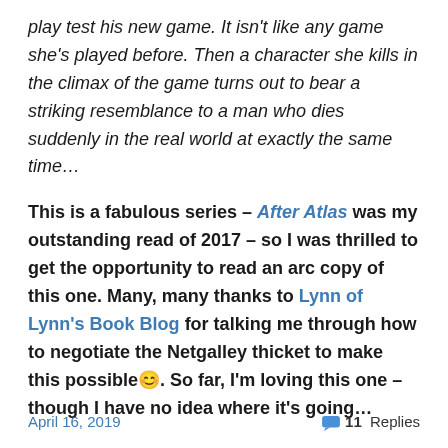play test his new game. It isn't like any game she's played before. Then a character she kills in the climax of the game turns out to bear a striking resemblance to a man who dies suddenly in the real world at exactly the same time…
This is a fabulous series – After Atlas was my outstanding read of 2017 – so I was thrilled to get the opportunity to read an arc copy of this one. Many, many thanks to Lynn of Lynn's Book Blog for talking me through how to negotiate the Netgalley thicket to make this possible😊. So far, I'm loving this one – though I have no idea where it's going…
April 16, 2019    💬 11 Replies